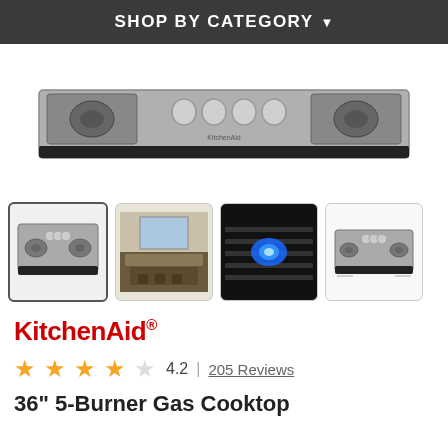SHOP BY CATEGORY
[Figure (photo): KitchenAid gas cooktop stainless steel with control knobs, top view, partially cropped]
[Figure (photo): Four product thumbnail images: 1) KitchenAid gas cooktop top view selected, 2) modern kitchen with appliances, 3) close-up blue flame on grate, 4) KitchenAid gas cooktop smaller view]
KitchenAid®
4.2 | 205 Reviews
36" 5-Burner Gas Cooktop